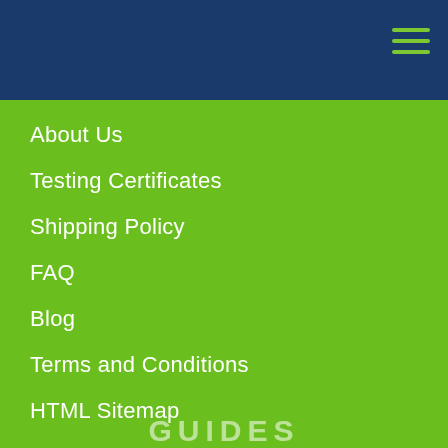About Us
Testing Certificates
Shipping Policy
FAQ
Blog
Terms and Conditions
HTML Sitemap
GUIDES